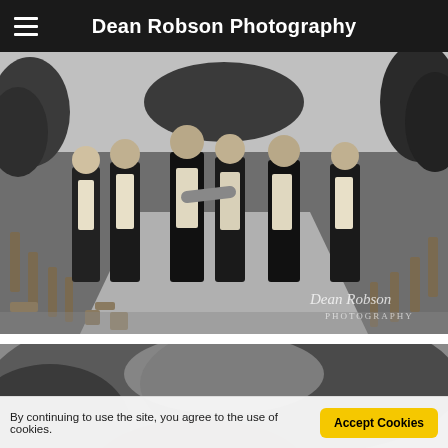Dean Robson Photography
[Figure (photo): Black and white wedding photo of groomsmen walking in a group along a path lined with wooden posts, trees in background, watermark 'Dean Robson Photography' visible in lower right]
[Figure (photo): Black and white close-up photo partially visible showing heads/hair of people outdoors, partially cut off at bottom]
By continuing to use the site, you agree to the use of cookies.